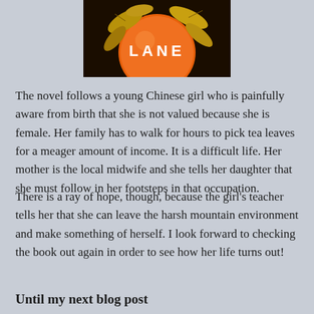[Figure (illustration): Book cover showing orange/gold floral design with the text LANE in white letters on a dark background]
The novel follows a young Chinese girl who is painfully aware from birth that she is not valued because she is female. Her family has to walk for hours to pick tea leaves for a meager amount of income. It is a difficult life. Her mother is the local midwife and she tells her daughter that she must follow in her footsteps in that occupation.
There is a ray of hope, though, because the girl's teacher tells her that she can leave the harsh mountain environment and make something of herself. I look forward to checking the book out again in order to see how her life turns out!
Until my next blog post